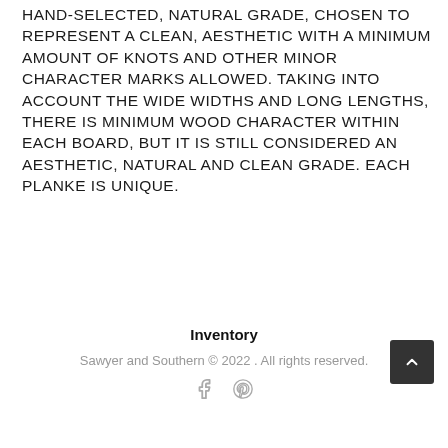HAND-SELECTED, NATURAL GRADE, CHOSEN TO REPRESENT A CLEAN, AESTHETIC WITH A MINIMUM AMOUNT OF KNOTS AND OTHER MINOR CHARACTER MARKS ALLOWED. TAKING INTO ACCOUNT THE WIDE WIDTHS AND LONG LENGTHS, THERE IS MINIMUM WOOD CHARACTER WITHIN EACH BOARD, BUT IT IS STILL CONSIDERED AN AESTHETIC, NATURAL AND CLEAN GRADE. EACH PLANKE IS UNIQUE.
Inventory
Sawyer and Southern © 2022 . All rights reserved.